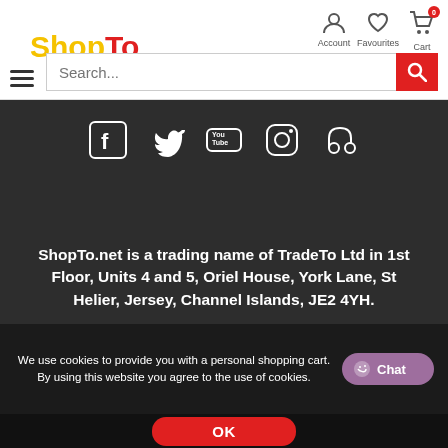[Figure (logo): ShopTo logo with 'Shop' in yellow and 'To' in red]
[Figure (infographic): Navigation icons: Account (person), Favourites (heart), Cart (shopping cart with badge 0)]
[Figure (infographic): Hamburger menu icon (three horizontal lines)]
[Figure (screenshot): Search input field with placeholder 'Search...' and red search button]
[Figure (infographic): Social media icons: Facebook, Twitter, YouTube, Instagram, and another icon on dark background]
ShopTo.net is a trading name of TradeTo Ltd in 1st Floor, Units 4 and 5, Oriel House, York Lane, St Helier, Jersey, Channel Islands, JE2 4YH.
We use cookies to provide you with a personal shopping cart. By using this website you agree to the use of cookies.
OK